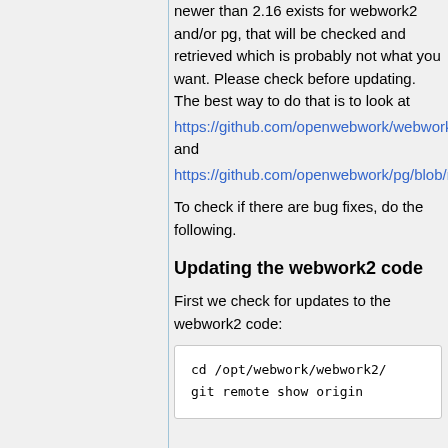newer than 2.16 exists for webwork2 and/or pg, that will be checked and retrieved which is probably not what you want. Please check before updating. The best way to do that is to look at https://github.com/openwebwork/webwork2/blob/main/VERSION and https://github.com/openwebwork/pg/blob/main/VERSION.
To check if there are bug fixes, do the following.
Updating the webwork2 code
First we check for updates to the webwork2 code:
cd /opt/webwork/webwork2/
git remote show origin